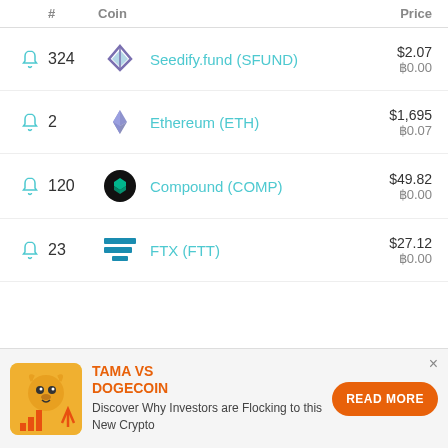| # | Coin | Price |
| --- | --- | --- |
| 324 | Seedify.fund (SFUND) | $2.07 / ฿0.00 |
| 2 | Ethereum (ETH) | $1,695 / ฿0.07 |
| 120 | Compound (COMP) | $49.82 / ฿0.00 |
| 23 | FTX (FTT) | $27.12 / ฿0.00 |
[Figure (infographic): Advertisement banner: TAMA VS DOGECOIN - Discover Why Investors are Flocking to this New Crypto. READ MORE button.]